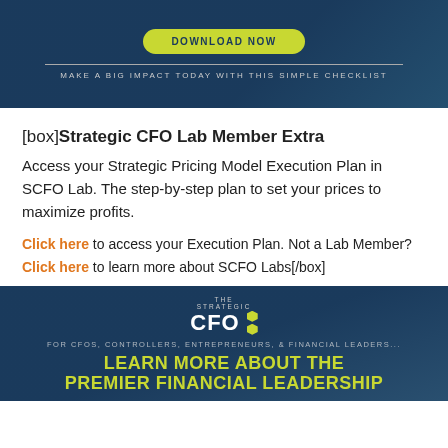[Figure (infographic): Dark blue banner with a yellow-green 'DOWNLOAD NOW' button and subtitle text 'MAKE A BIG IMPACT TODAY WITH THIS SIMPLE CHECKLIST']
[box]Strategic CFO Lab Member Extra
Access your Strategic Pricing Model Execution Plan in SCFO Lab. The step-by-step plan to set your prices to maximize profits.
Click here to access your Execution Plan. Not a Lab Member?
Click here to learn more about SCFO Labs[/box]
[Figure (infographic): Dark blue banner with The Strategic CFO logo, tagline 'FOR CFOS, CONTROLLERS, ENTREPRENEURS, & FINANCIAL LEADERS...' and bold yellow-green text 'LEARN MORE ABOUT THE PREMIER FINANCIAL LEADERSHIP']